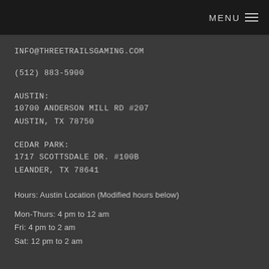MENU
INFO@THREETRAILSGAMING.COM
(512) 883-5900
AUSTIN:
10700 ANDERSON MILL RD #207
AUSTIN, TX 78750
CEDAR PARK:
1717 SCOTTSDALE DR. #100B
LEANDER, TX 78641
Hours: Austin Location (Modified hours below)
Mon-Thurs: 4 pm to 12 am
Fri: 4 pm to 2 am
Sat: 12 pm to 2 am